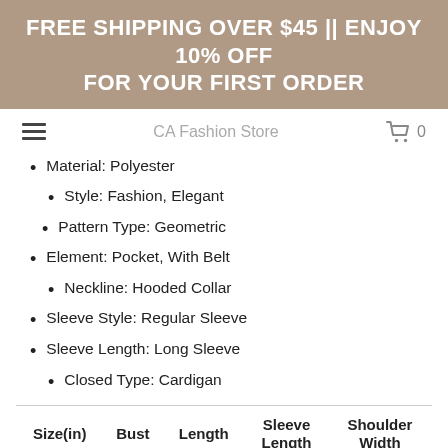FREE SHIPPING OVER $45 || ENJOY 10% OFF FOR YOUR FIRST ORDER
CA Fashion Store
Material: Polyester
Style: Fashion, Elegant
Pattern Type: Geometric
Element: Pocket, With Belt
Neckline: Hooded Collar
Sleeve Style: Regular Sleeve
Sleeve Length: Long Sleeve
Closed Type: Cardigan
| Size(in) | Bust | Length | Sleeve Length | Shoulder Width |
| --- | --- | --- | --- | --- |
| S | 43.3 | 37 | 18.9 | 23.6 |